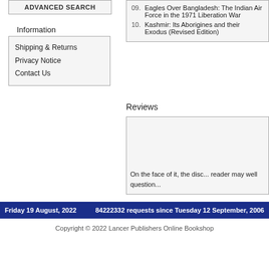ADVANCED SEARCH
Information
Shipping & Returns
Privacy Notice
Contact Us
09. Eagles Over Bangladesh: The Indian Air Force in the 1971 Liberation War
10. Kashmir: Its Aborigines and their Exodus (Revised Edition)
Prison: The Untold Story of Kishorilal alias Amarik... alias Saleem, an Indian... in Pakistan
Reviews
On the face of it, the disc... reader may well question...
Friday 19 August, 2022     84222332 requests since Tuesday 12 September, 2006
Copyright © 2022 Lancer Publishers Online Bookshop